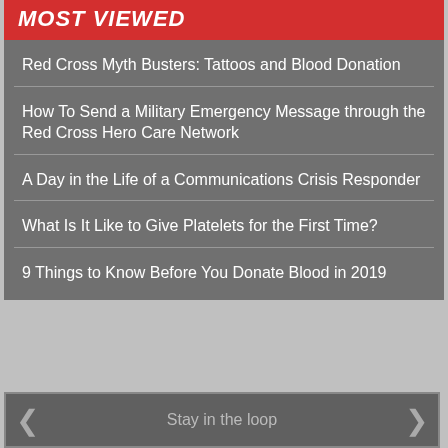MOST VIEWED
Red Cross Myth Busters: Tattoos and Blood Donation
How To Send a Military Emergency Message through the Red Cross Hero Care Network
A Day in the Life of a Communications Crisis Responder
What Is It Like to Give Platelets for the First Time?
9 Things to Know Before You Donate Blood in 2019
Stay in the loop